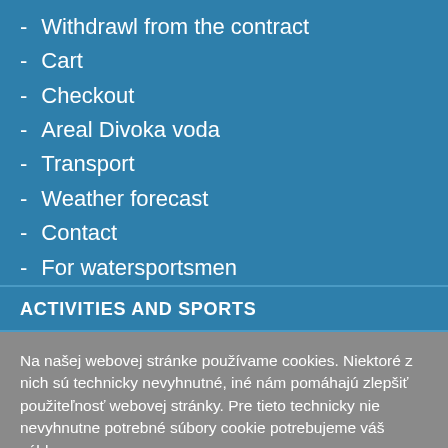- Withdrawl from the contract
- Cart
- Checkout
- Areal Divoka voda
- Transport
- Weather forecast
- Contact
- For watersportsmen
ACTIVITIES AND SPORTS
Na našej webovej stránke používame cookies. Niektoré z nich sú technicky nevyhnutné, iné nám pomáhajú zlepšiť použiteľnosť webovej stránky. Pre tieto technicky nie nevyhnutne potrebné súbory cookie potrebujeme váš súhlas.
Pokročilé nastavenie
Akceptovať